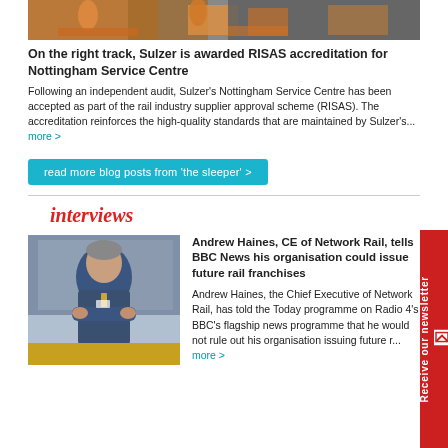[Figure (photo): Industrial/warehouse scene with workers in orange hi-viz clothing and orange trolleys/equipment on a grey floor]
On the right track, Sulzer is awarded RISAS accreditation for Nottingham Service Centre
Following an independent audit, Sulzer's Nottingham Service Centre has been accepted as part of the rail industry supplier approval scheme (RISAS). The accreditation reinforces the high-quality standards that are maintained by Sulzer's... more >
read more blog posts from 'the sleeper' >
interviews
[Figure (photo): Portrait photo of Andrew Haines, a man in a blue suit with arms crossed, standing in front of glass office interior]
Andrew Haines, CE of Network Rail, tells BBC News his organisation could issue future rail franchises
Andrew Haines, the Chief Executive of Network Rail, has told the Today programme on Radio 4's BBC's flagship news programme that he would not rule out his organisation issuing future r... more >